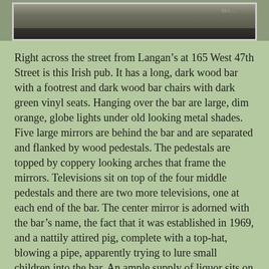[Figure (photo): Top portion of a photograph showing what appears to be a dark wooden bar or surface, partially cropped at the top of the page.]
Right across the street from Langan’s at 165 West 47th Street is this Irish pub. It has a long, dark wood bar with a footrest and dark wood bar chairs with dark green vinyl seats. Hanging over the bar are large, dim orange, globe lights under old looking metal shades. Five large mirrors are behind the bar and are separated and flanked by wood pedestals. The pedestals are topped by coppery looking arches that frame the mirrors. Televisions sit on top of the four middle pedestals and there are two more televisions, one at each end of the bar. The center mirror is adorned with the bar’s name, the fact that it was established in 1969, and a nattily attired pig, complete with a top-hat, blowing a pipe, apparently trying to lure small children into the bar. An ample supply of liquor sits on tiered shelves under the mirrors.
Booths line most of the wall behind the bar and the yellowish tan walls boast pictures of actors ranging from Humphrey Bogart to Abbott and Costello. The booths, and pictures, are separated by wide wooden panels each framing two narrow mirrors with a candle-like lamp mounted between them. The portion of the wall